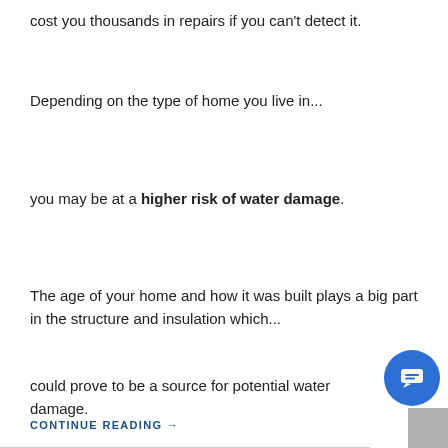cost you thousands in repairs if you can't detect it.
Depending on the type of home you live in...
you may be at a higher risk of water damage.
The age of your home and how it was built plays a big part in the structure and insulation which...
could prove to be a source for potential water damage.
CONTINUE READING →